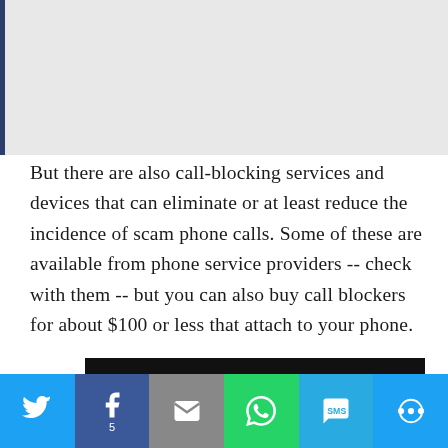[Figure (other): Gray image placeholder area with a dark blue left border stripe]
But there are also call-blocking services and devices that can eliminate or at least reduce the incidence of scam phone calls. Some of these are available from phone service providers -- check with them -- but you can also buy call blockers for about $100 or less that attach to your phone.
[Figure (infographic): Pure Earth advertisement banner: 'We believe the global pollution crisis can be solved.' with tagline 'In a world where pollution doesn't stop at borders, we can all be part of the solution. JOIN US.' and Pure Earth diamond logo]
[Figure (infographic): Social media sharing bar with Twitter, Facebook (5 shares), Email, WhatsApp, SMS, and More buttons]